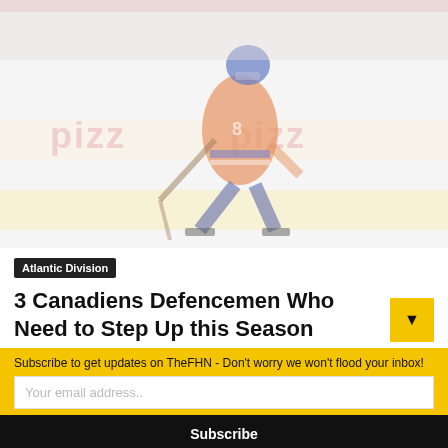[Figure (photo): Hockey player in Montreal Canadiens red and blue uniform skating on ice, with Pizza Pizza advertisement banner visible in the background. Image is faded/washed out.]
Atlantic Division
3 Canadiens Defencemen Who Need to Step Up this Season
Subscribe to get updates on TheFHN - Don't worry we won't flood your inbox!
Your email address..
Subscribe